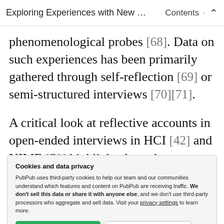Exploring Experiences with New … · Contents ·  ʌ
phenomenological probes [68]. Data on such experiences has been primarily gathered through self-reflection [69] or semi-structured interviews [70][71].
A critical look at reflective accounts in open-ended interviews in HCI [42] and NIME [70] highlights how the reflection of
Cookies and data privacy
PubPub uses third-party cookies to help our team and our communities understand which features and content on PubPub are receiving traffic. We don't sell this data or share it with anyone else, and we don't use third-party processors who aggregate and sell data. Visit your privacy settings to learn more.
findings accuracy and repeatability. On